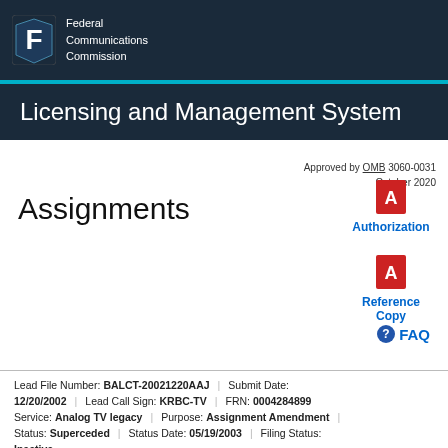Federal Communications Commission
Licensing and Management System
Approved by OMB 3060-0031
October 2020
Assignments
[Figure (other): PDF icon for Authorization link]
Authorization
[Figure (other): PDF icon for Reference Copy link]
Reference Copy
FAQ
Lead File Number: BALCT-20021220AAJ  Submit Date: 12/20/2002  Lead Call Sign: KRBC-TV  FRN: 0004284899  Service: Analog TV legacy  Purpose: Assignment Amendment  Status: Superceded  Status Date: 05/19/2003  Filing Status: Inactive